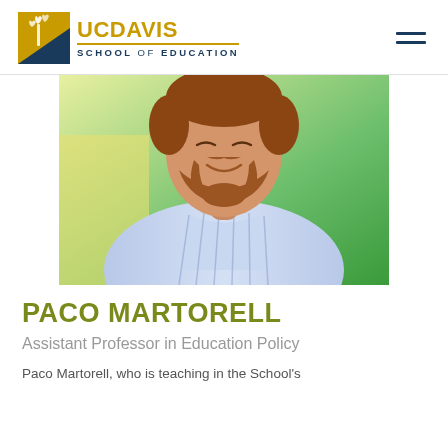[Figure (logo): UC Davis School of Education logo with gold torch icon and text]
[Figure (photo): Headshot photo of Paco Martorell, a man with red beard wearing a light blue striped button-up shirt, smiling, with a blurred green and yellow background]
PACO MARTORELL
Assistant Professor in Education Policy
Paco Martorell, who is teaching in the School's